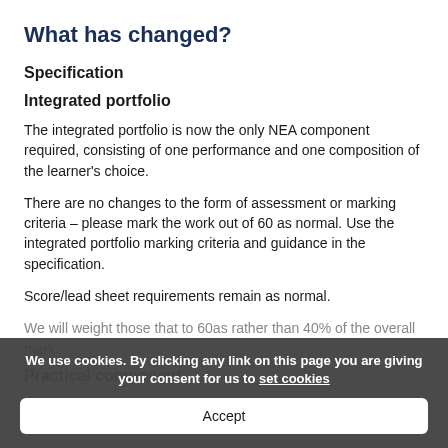What has changed?
Specification
Integrated portfolio
The integrated portfolio is now the only NEA component required, consisting of one performance and one composition of the learner's choice.
There are no changes to the form of assessment or marking criteria – please mark the work out of 60 as normal. Use the integrated portfolio marking criteria and guidance in the specification.
Score/lead sheet requirements remain as normal.
We will weight those that to 60as rather than 40% of the overall mark.
Practical component